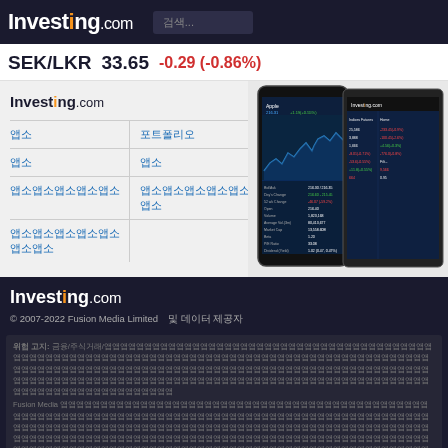Investing.com
SEK/LKR  33.65  -0.29 (-0.86%)
[Figure (screenshot): Investing.com app screenshot showing Apple stock chart on mobile and tablet devices]
Investing.com
앱소 (link)
포트폴리오 (link)
앱소 (link)
앱소 (link)
앱소앱소앱소앱소앱소 (link)
앱소앱소앱소앱소앱소앱소 (link)
앱소앱소앱소앱소앱소앱소앱소 (link)
Investing.com
© 2007-2022 Fusion Media Limited 및 데이터 제공자
위험 고지: 금융/주식 거래 관련 면책조항 및 고지 사항. Fusion Media 및 Fusion Media 관련 광고주 면책 조항.